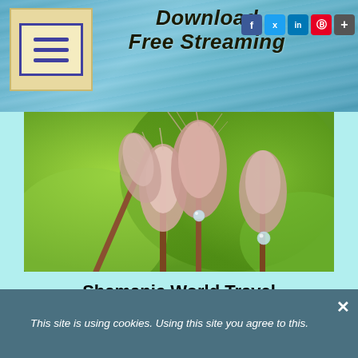Download Free Streaming
[Figure (photo): Close-up photo of fluffy feathery grass seed heads or cattails with bokeh green background and water droplets]
Shamanic World Travel
Spotify / Apple Music / Amazon.com / You Tube Music / Deezer
Magic Rhythms and Ritual Sounds from cultures around the world.
This site is using cookies. Using this site you agree to this.